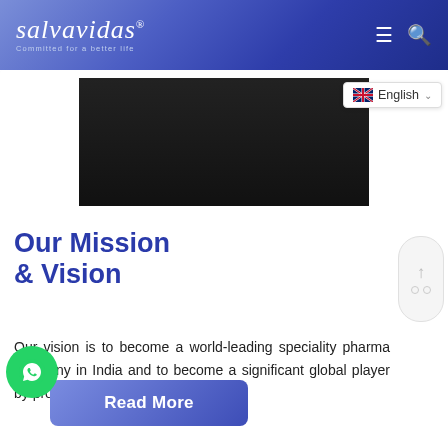salvavidas® Committed for a better life
[Figure (screenshot): Dark video/image block thumbnail]
[Figure (screenshot): English language selector with UK flag and chevron]
Our Mission & Vision
Our vision is to become a world-leading speciality pharma company in India and to become a significant global player by providing high quality.
[Figure (illustration): Green WhatsApp button icon]
[Figure (illustration): Read More button with blue gradient]